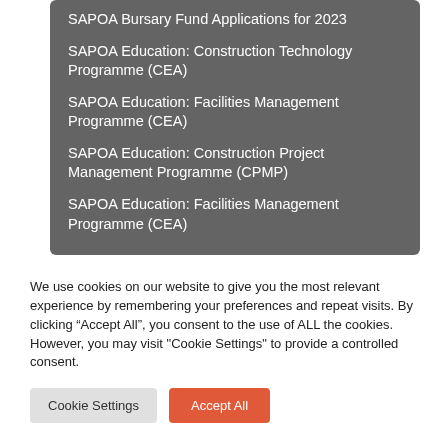SAPOA Bursary Fund Applications for 2023
SAPOA Education: Construction Technology Programme (CEA)
SAPOA Education: Facilities Management Programme (CEA)
SAPOA Education: Construction Project Management Programme (CPMP)
SAPOA Education: Facilities Management Programme (CEA)
We use cookies on our website to give you the most relevant experience by remembering your preferences and repeat visits. By clicking “Accept All”, you consent to the use of ALL the cookies. However, you may visit "Cookie Settings" to provide a controlled consent.
Cookie Settings | Accept All